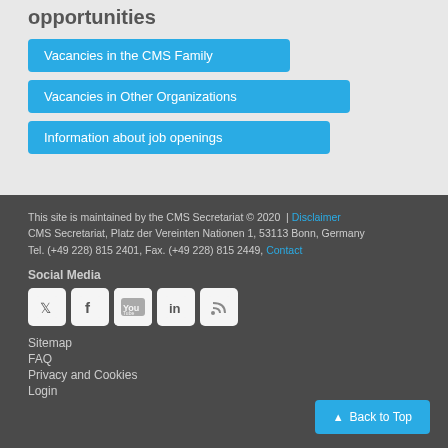opportunities
Vacancies in the CMS Family
Vacancies in Other Organizations
Information about job openings
This site is maintained by the CMS Secretariat © 2020  |  Disclaimer
CMS Secretariat, Platz der Vereinten Nationen 1, 53113 Bonn, Germany
Tel. (+49 228) 815 2401, Fax. (+49 228) 815 2449, Contact
Social Media
[Figure (other): Social media icons: Twitter, Facebook, YouTube, LinkedIn, RSS]
Sitemap
FAQ
Privacy and Cookies
Login
Back to Top